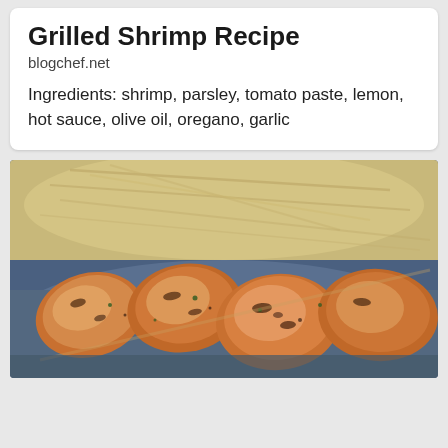Grilled Shrimp Recipe
blogchef.net
Ingredients: shrimp, parsley, tomato paste, lemon, hot sauce, olive oil, oregano, garlic
[Figure (photo): Close-up photo of grilled shrimp skewers on a blue plate, served alongside angel hair pasta or noodles, garnished with herbs and spices.]